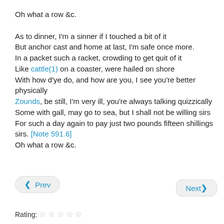Oh what a row &c.

As to dinner, I'm a sinner if I touched a bit of it
But anchor cast and home at last, I'm safe once more.
In a packet such a racket, crowding to get quit of it
Like cattle(1) on a coaster, were hailed on shore
With how d'ye do, and how are you, I see you're better physically
Zounds, be still, I'm very ill, you're always talking quizzically
Some with gall, may go to sea, but I shall not be willing sirs
For such a day again to pay just two pounds fifteen shillings sirs. [Note 591.6]
Oh what a row &c.
< Prev
Next >
Rating: ☆ ☆ ☆ ☆ ☆